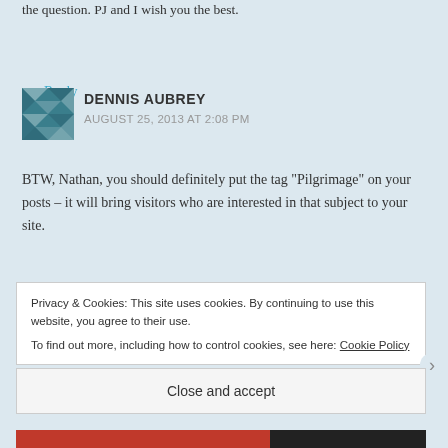the question. PJ and I wish you the best.
Reply
DENNIS AUBREY
AUGUST 25, 2013 AT 2:08 PM
BTW, Nathan, you should definitely put the tag “Pilgrimage” on your posts – it will bring visitors who are interested in that subject to your site.
Privacy & Cookies: This site uses cookies. By continuing to use this website, you agree to their use.
To find out more, including how to control cookies, see here: Cookie Policy
Close and accept